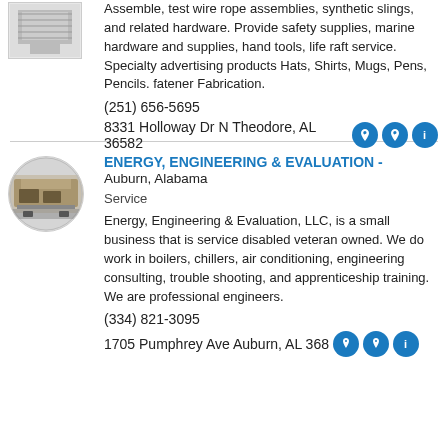Assemble, test wire rope assemblies, synthetic slings, and related hardware. Provide safety supplies, marine hardware and supplies, hand tools, life raft service. Specialty advertising products Hats, Shirts, Mugs, Pens, Pencils. fatener Fabrication.
(251) 656-5695
8331 Holloway Dr N Theodore, AL 36582
ENERGY, ENGINEERING & EVALUATION - Auburn, Alabama
Service
Energy, Engineering & Evaluation, LLC, is a small business that is service disabled veteran owned. We do work in boilers, chillers, air conditioning, engineering consulting, trouble shooting, and apprenticeship training. We are professional engineers.
(334) 821-3095
1705 Pumphrey Ave Auburn, AL 36801